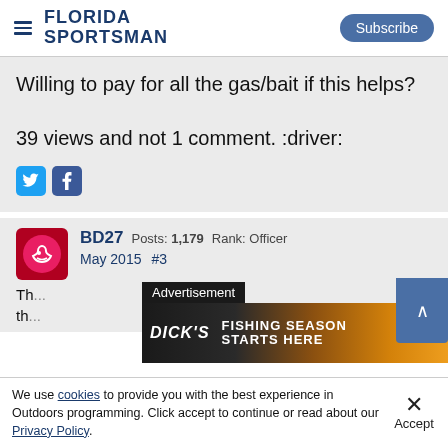FLORIDA SPORTSMAN | Subscribe
Willing to pay for all the gas/bait if this helps?

39 views and not 1 comment. :driver:
[Figure (infographic): Twitter and Facebook social share icons]
BD27 Posts: 1,179 Rank: Officer
May 2015 #3
Th... (partial text obscured by advertisement)
[Figure (screenshot): Advertisement overlay: Dick's Sporting Goods - Fishing Season Starts Here, with close and collapse buttons]
We use cookies to provide you with the best experience in Outdoors programming. Click accept to continue or read about our Privacy Policy.